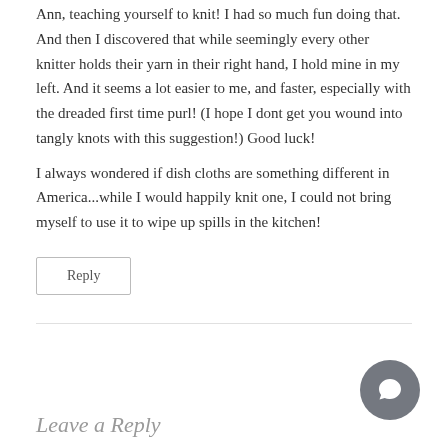Ann, teaching yourself to knit! I had so much fun doing that. And then I discovered that while seemingly every other knitter holds their yarn in their right hand, I hold mine in my left. And it seems a lot easier to me, and faster, especially with the dreaded first time purl! (I hope I dont get you wound into tangly knots with this suggestion!) Good luck!
I always wondered if dish cloths are something different in America...while I would happily knit one, I could not bring myself to use it to wipe up spills in the kitchen!
Reply
Leave a Reply
[Figure (illustration): Chat/comment bubble icon button, circular grey background with white speech bubble icon]